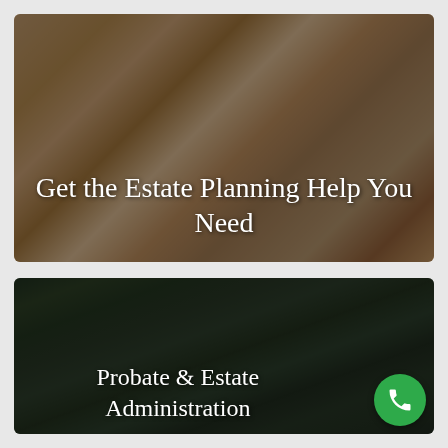[Figure (photo): Person signing a document, viewed from above, with dark overlay. Text overlay reads 'Get the Estate Planning Help You Need'.]
Get the Estate Planning Help You Need
[Figure (photo): Two adults and a child standing at a funeral, viewed from behind, near a casket with flowers, dark green foliage background. Text overlay reads 'Probate & Estate Administration'. Green phone icon button at bottom right.]
Probate & Estate Administration